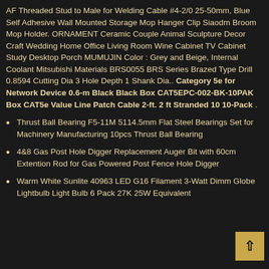AF Threaded Stud to Male for Welding Cable #4-2/0 25-50mm, Blue Self Adhesive Wall Mounted Storage Mop Hanger Clip Siaodm Broom Mop Holder. ORNAMENT Ceramic Couple Animal Sculpture Decor Craft Wedding Home Office Living Room Wine Cabinet TV Cabinet Study Desktop Porch MUMUJIN Color : Grey and Beige, Internal Coolant Mitsubishi Materials BRS0055 BRS Series Brazed Type Drill 0.8594 Cutting Dia 3 Hole Depth 1 Shank Dia.. Category 5e for Network Device 0.6-m Black Black Box CAT5EPC-002-BK-10PAK Box CAT5e Value Line Patch Cable 2-ft. 2 ft Stranded 10 10-Pack .
Thrust Ball Bearing F5-11M 5114.5mm Flat Steel Bearings Set for Machinery Manufacturing 10pcs Thrust Ball Bearing
4&8 Gas Post Hole Digger Replacement Auger Bit with 60cm Extention Rod for Gas Powered Post Fence Hole Digger
Warm White Sunlite 40963 LED G16 Filament 3-Watt Dimm Globe Lightbulb Light Bulb 6 Pack 27K 25W Equivalent